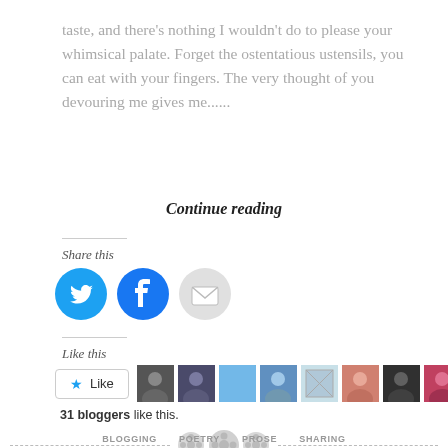taste, and there's nothing I wouldn't do to please your whimsical palate. Forget the ostentatious ustensils, you can eat with your fingers. The very thought of you devouring me gives me......
Continue reading
Share this
[Figure (infographic): Three circular social sharing icons: Twitter (blue bird), Facebook (blue f), Email (grey envelope)]
Like this
[Figure (infographic): Like button with star icon and 10 blogger avatar thumbnails. 31 bloggers like this.]
31 bloggers like this.
[Figure (infographic): Decorative dashed divider with three button/sewing icons in the center]
BLOGGING   POETRY   PROSE   SHARING